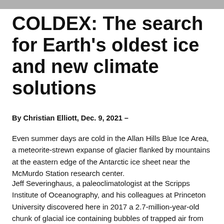[Figure (photo): Partial photo strip visible at top of page, showing people in cold-weather gear]
COLDEX: The search for Earth's oldest ice and new climate solutions
By Christian Elliott, Dec. 9, 2021 –
Even summer days are cold in the Allan Hills Blue Ice Area, a meteorite-strewn expanse of glacier flanked by mountains at the eastern edge of the Antarctic ice sheet near the McMurdo Station research center.
Jeff Severinghaus, a paleoclimatologist at the Scripps Institute of Oceanography, and his colleagues at Princeton University discovered here in 2017 a 2.7-million-year-old chunk of glacial ice containing bubbles of trapped air from Earth's ancient atmosphere.